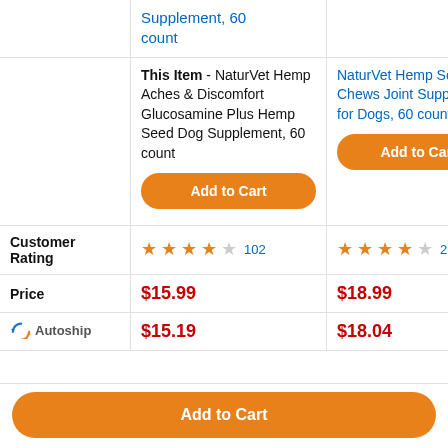|  | Item 1 | Item 2 | Item 3 (partial) |
| --- | --- | --- | --- |
|  | Supplement, 60 count | NaturVet Hemp Soft Chews Joint Supplement for Dogs, 60 count | S... D... |
|  | This Item - NaturVet Hemp Aches & Discomfort Glucosamine Plus Hemp Seed Dog Supplement, 60 count | NaturVet Hemp Soft Chews Joint Supplement for Dogs, 60 count | (partial) |
|  | Add to Cart | Add to Cart | Add to Cart (partial) |
| Customer Rating | ★★★★☆ 102 | ★★★★☆ 214 | (partial) |
| Price | $15.99 | $18.99 | $... |
| Autoship | $15.19 | $18.04 | $... |
Add to Cart